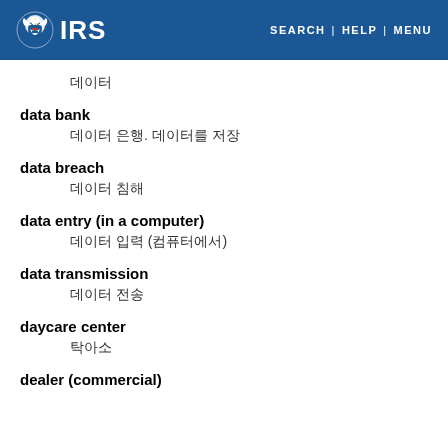IRS SEARCH | HELP | MENU
데이터
data bank
데이터 은행. 데이터를 저장
data breach
데이터 침해
data entry (in a computer)
데이터 입력 (컴퓨터에서)
data transmission
데이터 전송
daycare center
탁아소
dealer (commercial)